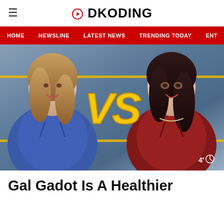DKODING
[Figure (screenshot): Navigation bar with menu items: HOME, NEWSLINE, LATEST NEWS, TRENDING TODAY, ENT]
[Figure (photo): Hero image showing two women facing each other with large yellow 'VS' text in the center. Left woman in blue dress, right woman in red dress. Timer badge '4'' in bottom right corner.]
Gal Gadot Is A Healthier